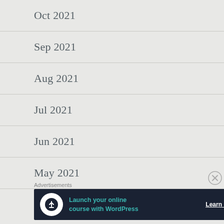Oct 2021
Sep 2021
Aug 2021
Jul 2021
Jun 2021
May 2021
Mar 2021
Advertisements
[Figure (infographic): Dark advertisement banner: Launch your online course with WordPress — Learn More button, with a white circular icon showing a tree/upload symbol.]